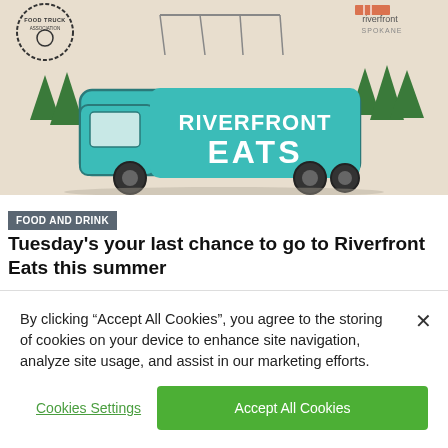[Figure (illustration): Riverfront Eats food truck promotional image on beige background with teal illustrated food truck reading 'RIVERFRONT EATS', pine trees, bridge structure, food truck association stamp logo top left, riverfront Spokane logo top right.]
FOOD AND DRINK
Tuesday's your last chance to go to Riverfront Eats this summer
[Figure (photo): Partial photo showing dark and blue tones, partially obscured by cookie consent banner.]
By clicking “Accept All Cookies”, you agree to the storing of cookies on your device to enhance site navigation, analyze site usage, and assist in our marketing efforts.
Cookies Settings
Accept All Cookies